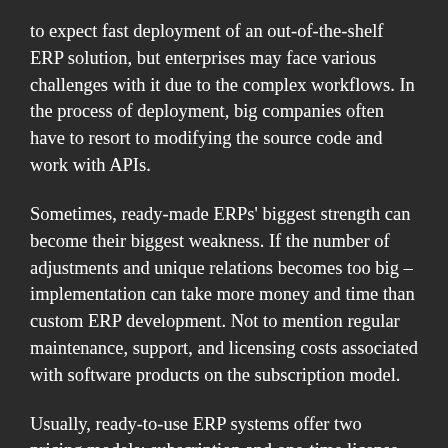to expect fast deployment of an out-of-the-shelf ERP solution, but enterprises may face various challenges with it due to the complex workflows. In the process of deployment, big companies often have to resort to modifying the source code and work with APIs.
Sometimes, ready-made ERPs' biggest strength can become their biggest weakness. If the number of adjustments and unique relations becomes too big – implementation can take more money and time than custom ERP development. Not to mention regular maintenance, support, and licensing costs associated with software products on the subscription model.
Usually, ready-to-use ERP systems offer two pricing models: subscription and one-time license payment. SaaS solutions providers use subscriptions, and those who provide on-premise ERP software opt for licenses.